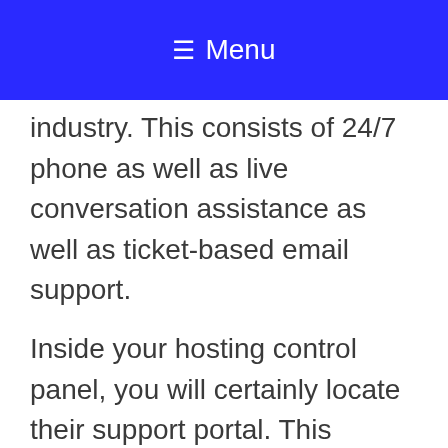☰ Menu
industry. This consists of 24/7 phone as well as live conversation assistance as well as ticket-based email support.
Inside your hosting control panel, you will certainly locate their support portal. This website assists you locate quick solutions from a knowledgebase of thousands of short articles and video clip tutorials.